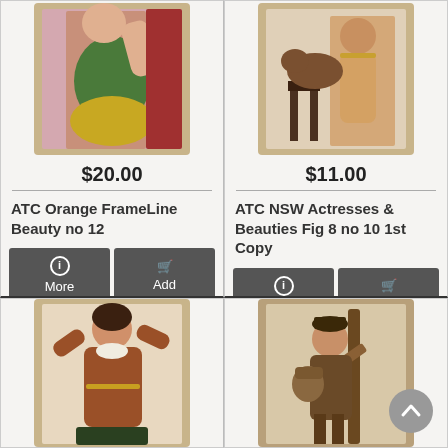[Figure (photo): Antique tobacco card showing a woman in colorful dress with green and yellow tones, framed in tan/gold border]
$20.00
ATC Orange FrameLine Beauty no 12
[Figure (photo): Antique tobacco card showing a woman in side profile with horse and furniture, tan/brown tones, framed in tan/gold border]
$11.00
ATC NSW Actresses & Beauties Fig 8 no 10 1st Copy
[Figure (photo): Antique tobacco card showing a woman in theatrical brown costume with arms raised, framed in tan border]
[Figure (photo): Antique tobacco card showing a man or figure in brown coat with hat, leaning on a post, framed in tan border]